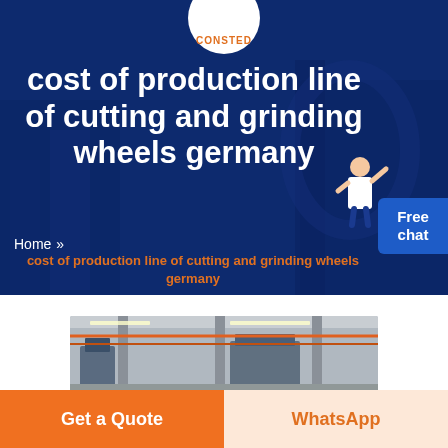[Figure (screenshot): Website screenshot with dark blue hero banner, CONSTED logo, title text, breadcrumb navigation, factory image, and call-to-action buttons]
cost of production line of cutting and grinding wheels germany
Home » cost of production line of cutting and grinding wheels germany
[Figure (photo): Factory interior showing industrial machinery and equipment]
Get a Quote
WhatsApp